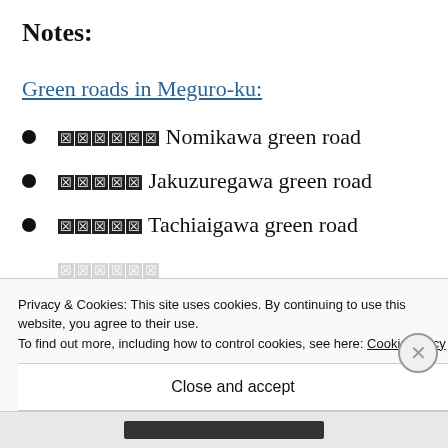Notes:
Green roads in Meguro-ku:
[kanji] Nomikawa green road
[kanji] Jakuzuregawa green road
[kanji] Tachiaigawa green road
Privacy & Cookies: This site uses cookies. By continuing to use this website, you agree to their use.
To find out more, including how to control cookies, see here: Cookie Policy
Close and accept